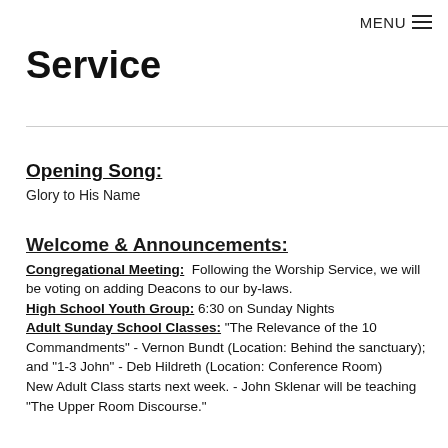MENU ☰
Service
Opening Song:
Glory to His Name
Welcome & Announcements:
Congregational Meeting: Following the Worship Service, we will be voting on adding Deacons to our by-laws.
High School Youth Group: 6:30 on Sunday Nights
Adult Sunday School Classes: "The Relevance of the 10 Commandments" - Vernon Bundt (Location: Behind the sanctuary); and "1-3 John" - Deb Hildreth (Location: Conference Room)
New Adult Class starts next week. - John Sklenar will be teaching "The Upper Room Discourse."